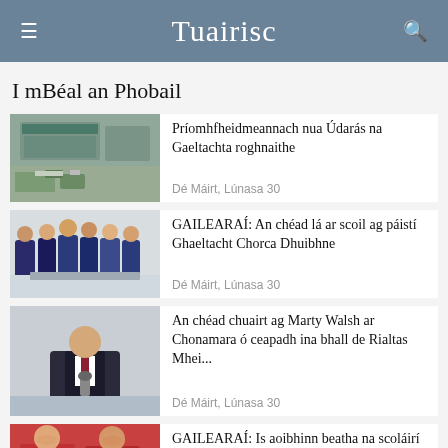Tuairisc
I mBéal an Phobail
[Figure (photo): Building exterior with sign and landscaping]
Príomhfheidmeannach nua Údarás na Gaeltachta roghnaithe
Dé Máirt, Lúnasa 30
[Figure (photo): Children in school uniforms standing at a table]
GAILEARAÍ: An chéad lá ar scoil ag páistí Ghaeltacht Chorca Dhuibhne
Dé Máirt, Lúnasa 30
[Figure (photo): Man in suit speaking at a microphone]
An chéad chuairt ag Marty Walsh ar Chonamara ó ceapadh ina bhall de Rialtas Mhei...
Dé Máirt, Lúnasa 30
[Figure (photo): Two young girls in red clothing smiling]
GAILEARAÍ: Is aoibhinn beatha na scoláirí ar a gcéad lá ar scoil ar an gCeathrú ...
Dé Céadaoin, Lúnasa 31